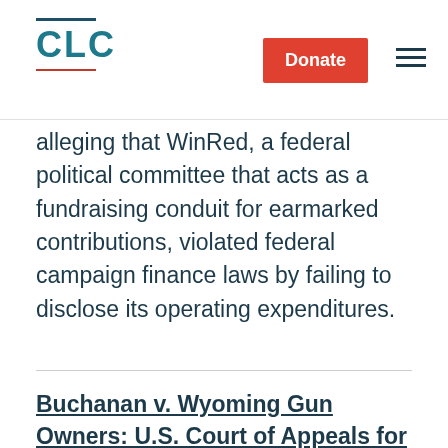CLC | Donate
alleging that WinRed, a federal political committee that acts as a fundraising conduit for earmarked contributions, violated federal campaign finance laws by failing to disclose its operating expenditures.
Buchanan v. Wyoming Gun Owners: U.S. Court of Appeals for the 10th Circuit - CLC Amicus Curiae Brief